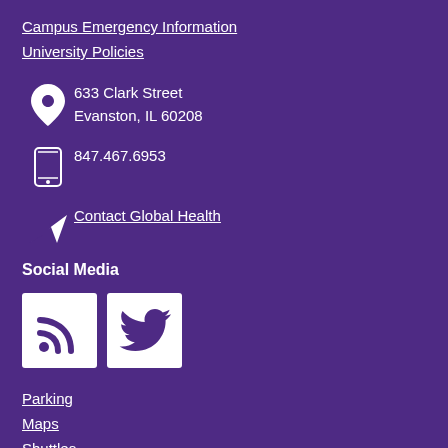Campus Emergency Information
University Policies
633 Clark Street
Evanston, IL 60208
847.467.6953
Contact Global Health
Social Media
[Figure (illustration): RSS feed icon (white on white square background) and Twitter bird icon (white on white square background)]
Parking
Maps
Shuttles